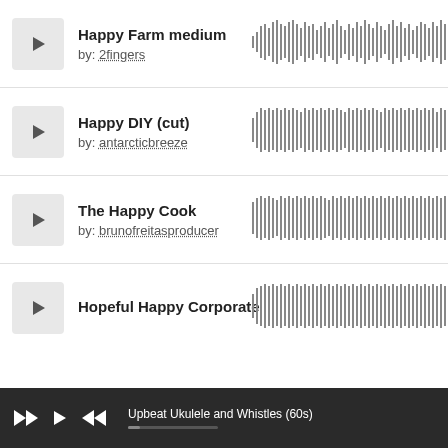Happy Farm medium by: 2fingers
[Figure (other): Audio waveform for Happy Farm medium]
Happy DIY (cut) by: antarcticbreeze
[Figure (other): Audio waveform for Happy DIY (cut)]
The Happy Cook by: brunofreitasproducer
[Figure (other): Audio waveform for The Happy Cook]
Hopeful Happy Corporate
[Figure (other): Audio waveform for Hopeful Happy Corporate]
Upbeat Ukulele and Whistles (60s)